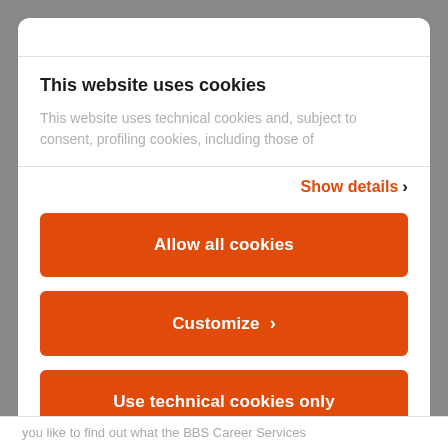This website uses cookies
This website uses technical cookies and, subject to consent, profiling cookies, including those of
Show details ›
Allow all cookies
Customize ›
Use technical cookies only
you like to find out what the BBS Career Services